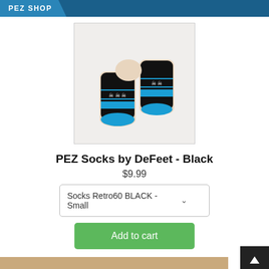PEZ SHOP
[Figure (photo): Photo of black socks with blue toes and heels, featuring a skull/chain pattern stripe band, worn on feet raised against a white background]
PEZ Socks by DeFeet - Black
$9.99
Socks Retro60 BLACK - Small
Add to cart